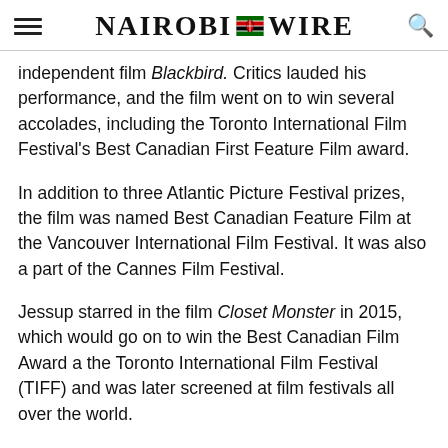Nairobi Wire
independent film Blackbird. Critics lauded his performance, and the film went on to win several accolades, including the Toronto International Film Festival's Best Canadian First Feature Film award.
In addition to three Atlantic Picture Festival prizes, the film was named Best Canadian Feature Film at the Vancouver International Film Festival. It was also a part of the Cannes Film Festival.
Jessup starred in the film Closet Monster in 2015, which would go on to win the Best Canadian Film Award a the Toronto International Film Festival (TIFF) and was later screened at film festivals all over the world.
The Canadian then played Taylor Blaine in the Emmy-winning ABC drama American Crime. Critics praised his